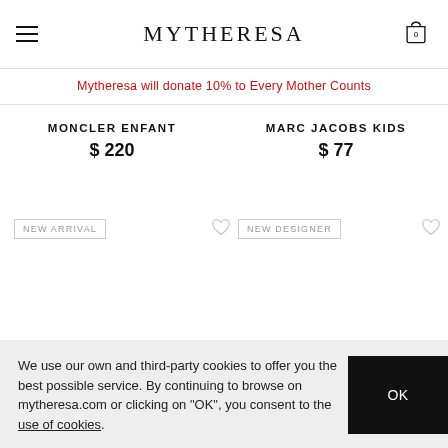MYTHERESA
Mytheresa will donate 10% to Every Mother Counts
MONCLER ENFANT
$ 220
MARC JACOBS KIDS
$ 77
NEW ARRIVAL
NEW DESIGNER
We use our own and third-party cookies to offer you the best possible service. By continuing to browse on mytheresa.com or clicking on "OK", you consent to the use of cookies.